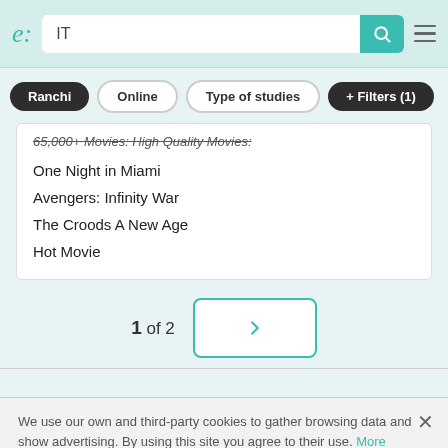e: IT [search bar with teal search button] [hamburger menu]
Ranchi | Online | Type of studies | + Filters (1)
65,000+ Movies: High Quality Movies:
One Night in Miami
Avengers: Infinity War
The Croods A New Age
Hot Movie
1 of 2  [Next page >]
We use our own and third-party cookies to gather browsing data and show advertising. By using this site you agree to their use. More information.